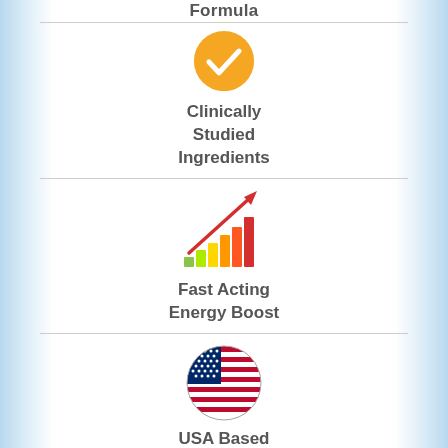Formula
[Figure (illustration): Orange circle with white checkmark icon]
Clinically
Studied
Ingredients
[Figure (illustration): Colorful bar chart with upward red arrow, representing fast acting energy boost]
Fast Acting
Energy Boost
[Figure (illustration): Circular USA flag icon]
USA Based